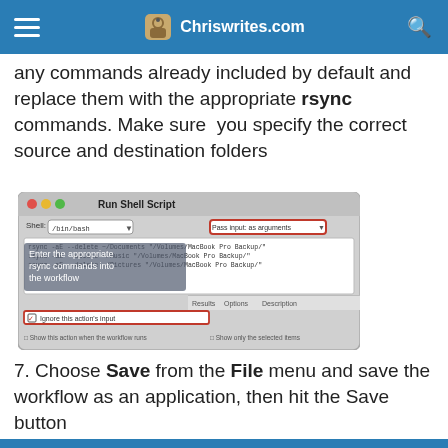Chriswrites.com
any commands already included by default and replace them with the appropriate rsync commands. Make sure you specify the correct source and destination folders
[Figure (screenshot): Run Shell Script dialog box showing rsync commands entered into the workflow, with 'Pass input: as arguments' highlighted in red and 'Ignore this action's input' checked]
7. Choose Save from the File menu and save the workflow as an application, then hit the Save button